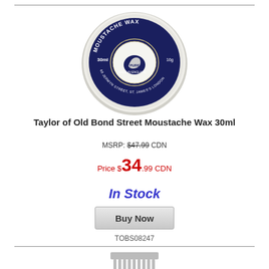[Figure (photo): Taylor of Old Bond Street Moustache Wax 30ml tin viewed from above, circular white tin with dark navy blue label]
Taylor of Old Bond Street Moustache Wax 30ml
MSRP: $47.99 CDN
Price $34.99 CDN
In Stock
Buy Now
TOBS08247
[Figure (photo): Partial image of a comb at the bottom of the page]